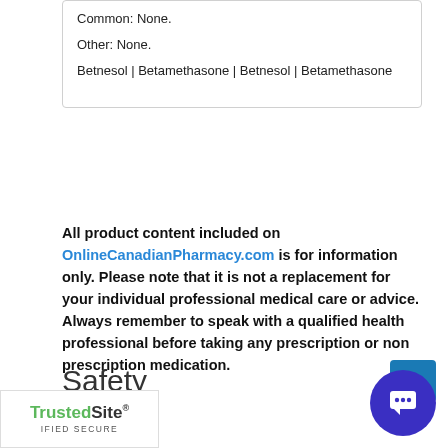Common: None.
Other: None.
Betnesol | Betamethasone | Betnesol | Betamethasone
All product content included on OnlineCanadianPharmacy.com is for information only. Please note that it is not a replacement for your individual professional medical care or advice. Always remember to speak with a qualified health professional before taking any prescription or non prescription medication.
Safety
[Figure (logo): TrustedSite - VERIFIED SECURE badge]
[Figure (other): Chat widget with blue circle and speech bubble icon]